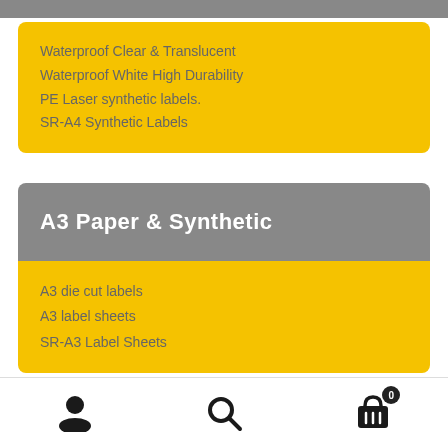Waterproof Clear & Translucent
Waterproof White High Durability
PE Laser synthetic labels.
SR-A4 Synthetic Labels
A3 Paper & Synthetic
A3 die cut labels
A3 label sheets
SR-A3 Label Sheets